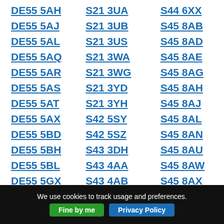DE55 5AH
DE55 5AJ
DE55 5AL
DE55 5AQ
DE55 5AR
DE55 5AS
DE55 5AT
DE55 5AX
DE55 5BD
DE55 5BH
DE55 5BL
DE55 5GX
S21 3UA
S21 3UB
S21 3US
S21 3WA
S21 3WG
S21 3YD
S21 3YH
S42 5SY
S42 5SZ
S43 3DH
S43 4AA
S43 4AB
S44 6XX
S45 8AB
S45 8AD
S45 8AE
S45 8AG
S45 8AH
S45 8AJ
S45 8AL
S45 8AN
S45 8AU
S45 8AW
S45 8AX
We use cookies to track usage and preferences.
Fine by me
Privacy Policy